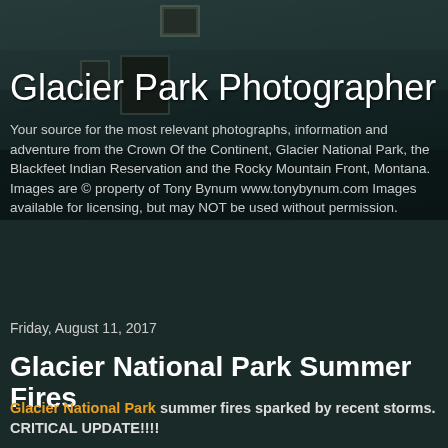[Figure (photo): Dark interior room background with framed pictures on wall, dim teal/green tones]
Glacier Park Photographer
Your source for the most relevant photographs, information and adventure from the Crown Of the Continent, Glacier National Park, the Blackfeet Indian Reservation and the Rocky Mountain Front, Montana. Images are © property of Tony Bynum www.tonybynum.com Images available for licensing, but may NOT be used without permission.
Friday, August 11, 2017
Glacier National Park Summer Fires
Glacier National Park summer fires sparked by recent storms. CRITICAL UPDATE!!!!